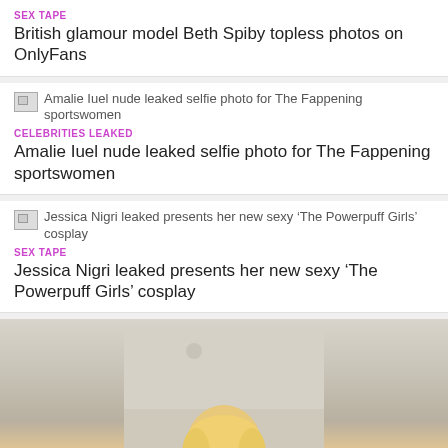SEX TAPE
British glamour model Beth Spiby topless photos on OnlyFans
[Figure (photo): Broken/missing thumbnail image for Amalie Iuel article]
CELEBRITIES LEAKED
Amalie Iuel nude leaked selfie photo for The Fappening sportswomen
[Figure (photo): Broken/missing thumbnail image for Jessica Nigri article]
SEX TAPE
Jessica Nigri leaked presents her new sexy ‘The Powerpuff Girls’ cosplay
[Figure (photo): Photo of a blonde woman taking a selfie indoors]